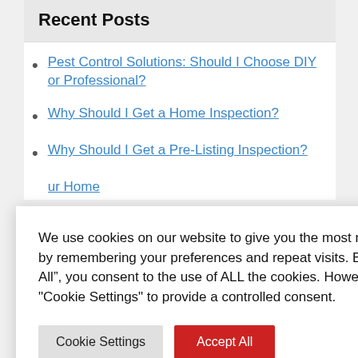Recent Posts
Pest Control Solutions: Should I Choose DIY or Professional?
Why Should I Get a Home Inspection?
Why Should I Get a Pre-Listing Inspection?
We use cookies on our website to give you the most relevant experience by remembering your preferences and repeat visits. By clicking “Accept All”, you consent to the use of ALL the cookies. However, you may visit "Cookie Settings" to provide a controlled consent.
Cookie Settings | Accept All